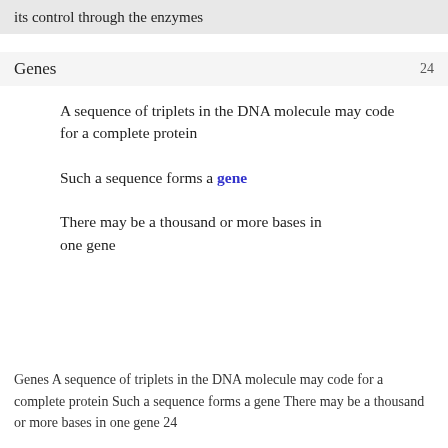its control through the enzymes
Genes  24
A sequence of triplets in the DNA molecule may code for a complete protein
Such a sequence forms a gene
There may be a thousand or more bases in one gene
Genes A sequence of triplets in the DNA molecule may code for a complete protein Such a sequence forms a gene There may be a thousand or more bases in one gene 24